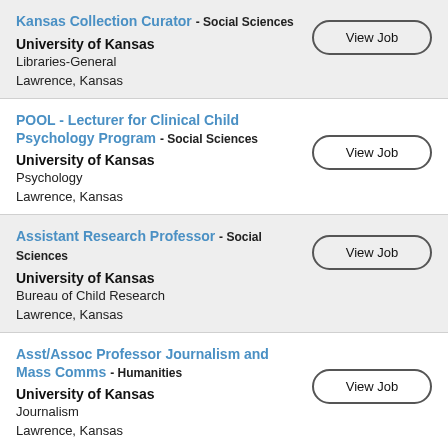Kansas Collection Curator - Social Sciences
University of Kansas
Libraries-General
Lawrence, Kansas
POOL - Lecturer for Clinical Child Psychology Program - Social Sciences
University of Kansas
Psychology
Lawrence, Kansas
Assistant Research Professor - Social Sciences
University of Kansas
Bureau of Child Research
Lawrence, Kansas
Asst/Assoc Professor Journalism and Mass Comms - Humanities
University of Kansas
Journalism
Lawrence, Kansas